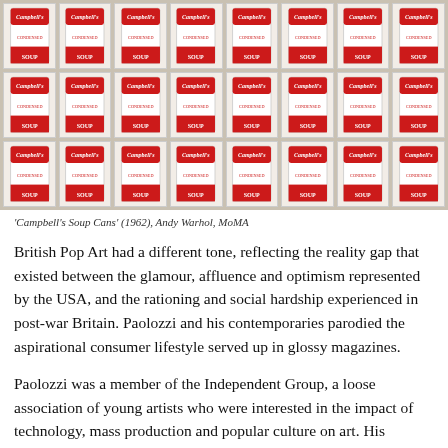[Figure (photo): Grid of Campbell's Soup Cans painting by Andy Warhol, showing 24 soup cans in 3 rows of 8, each with white and red labeling, displayed in a gallery setting]
'Campbell's Soup Cans' (1962), Andy Warhol, MoMA
British Pop Art had a different tone, reflecting the reality gap that existed between the glamour, affluence and optimism represented by the USA, and the rationing and social hardship experienced in post-war Britain. Paolozzi and his contemporaries parodied the aspirational consumer lifestyle served up in glossy magazines.
Paolozzi was a member of the Independent Group, a loose association of young artists who were interested in the impact of technology, mass production and popular culture on art. His